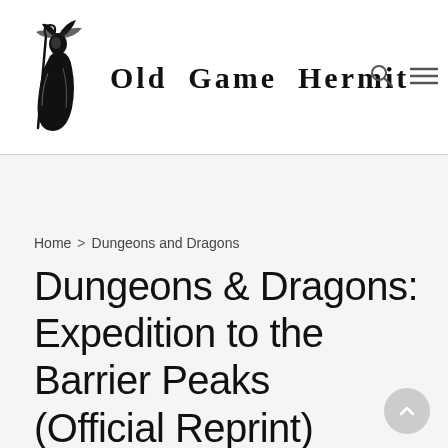Old Game Hermit
Home > Dungeons and Dragons
Dungeons & Dragons: Expedition to the Barrier Peaks (Official Reprint)